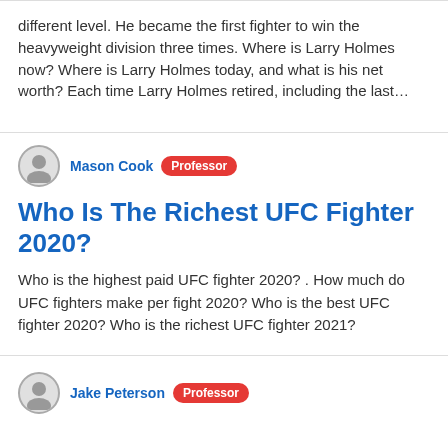different level. He became the first fighter to win the heavyweight division three times. Where is Larry Holmes now? Where is Larry Holmes today, and what is his net worth? Each time Larry Holmes retired, including the last…
Mason Cook  Professor
Who Is The Richest UFC Fighter 2020?
Who is the highest paid UFC fighter 2020? . How much do UFC fighters make per fight 2020? Who is the best UFC fighter 2020? Who is the richest UFC fighter 2021?
Jake Peterson  Professor